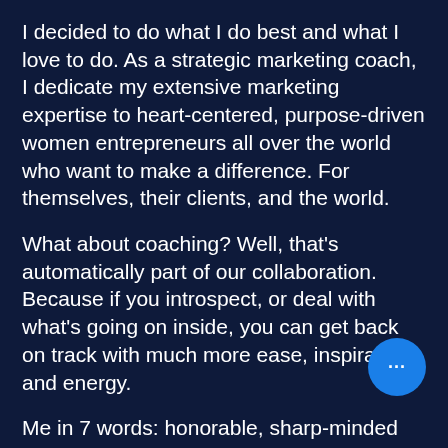I decided to do what I do best and what I love to do. As a strategic marketing coach, I dedicate my extensive marketing expertise to heart-centered, purpose-driven women entrepreneurs all over the world who want to make a difference. For themselves, their clients, and the world.
What about coaching? Well, that's automatically part of our collaboration. Because if you introspect, or deal with what's going on inside, you can get back on track with much more ease, inspiration and energy.
Me in 7 words: honorable, sharp-minded
[Figure (illustration): Blue circular chat bubble button with ellipsis (…) icon in the bottom right corner of the page]